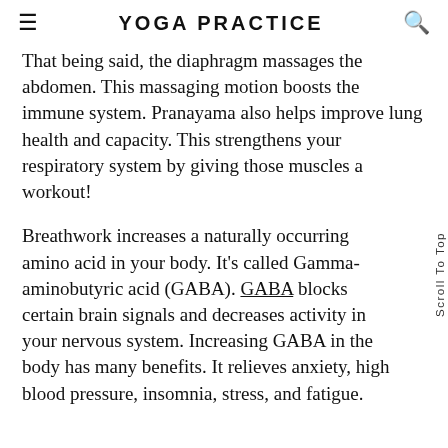YOGA PRACTICE
That being said, the diaphragm massages the abdomen. This massaging motion boosts the immune system. Pranayama also helps improve lung health and capacity. This strengthens your respiratory system by giving those muscles a workout!
Breathwork increases a naturally occurring amino acid in your body. It’s called Gamma-aminobutyric acid (GABA). GABA blocks certain brain signals and decreases activity in your nervous system. Increasing GABA in the body has many benefits. It relieves anxiety, high blood pressure, insomnia, stress, and fatigue.